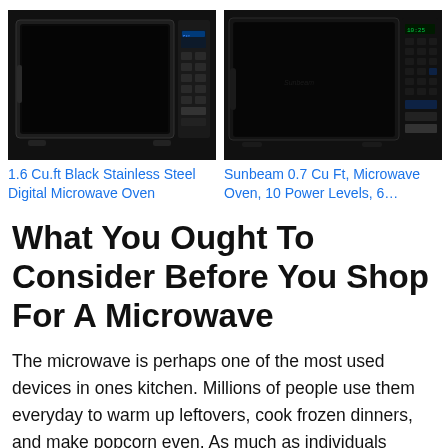[Figure (photo): Product image of 1.6 Cu.ft Black Stainless Steel Digital Microwave Oven]
1.6 Cu.ft Black Stainless Steel Digital Microwave Oven
[Figure (photo): Product image of Sunbeam 0.7 Cu Ft, Microwave Oven, 10 Power Levels, 6...]
Sunbeam 0.7 Cu Ft, Microwave Oven, 10 Power Levels, 6...
What You Ought To Consider Before You Shop For A Microwave
The microwave is perhaps one of the most used devices in ones kitchen. Millions of people use them everyday to warm up leftovers, cook frozen dinners, and make popcorn even. As much as individuals utilize microwaves on a daily basis, people only utilize a small percent of the microwave’s capabilities. Before you even start shopping...